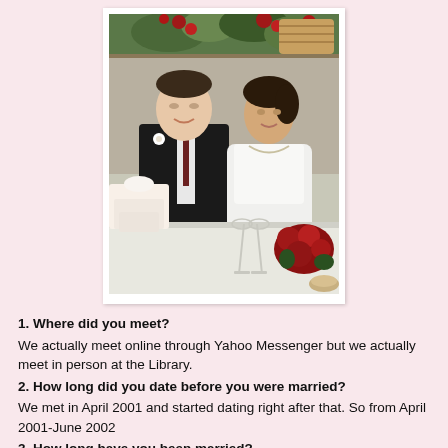[Figure (photo): Wedding photo of a couple — man in dark suit with boutonniere and woman in white wedding dress — standing at a reception table with wedding cake, champagne glasses, and red rose bouquet. Floral arrangements visible in background.]
1. Where did you meet?
We actually meet online through Yahoo Messenger but we actually meet in person at the Library.
2. How long did you date before you were married?
We met in April 2001 and started dating right after that. So from April 2001-June 2002
3. How long have you been married?